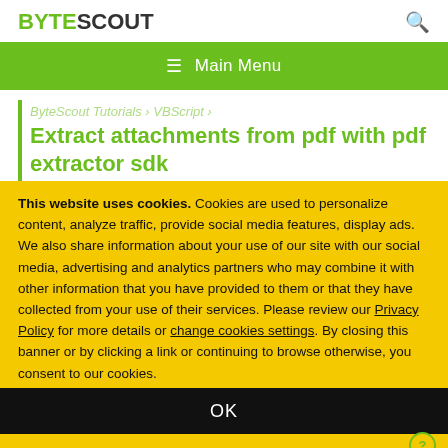BYTESCOUT
≡ Main Menu
Extract attachments from pdf with pdf extractor sdk
This website uses cookies. Cookies are used to personalize content, analyze traffic, provide social media features, display ads. We also share information about your use of our site with our social media, advertising and analytics partners who may combine it with other information that you have provided to them or that they have collected from your use of their services. Please review our Privacy Policy for more details or change cookies settings. By closing this banner or by clicking a link or continuing to browse otherwise, you consent to our cookies.
OK